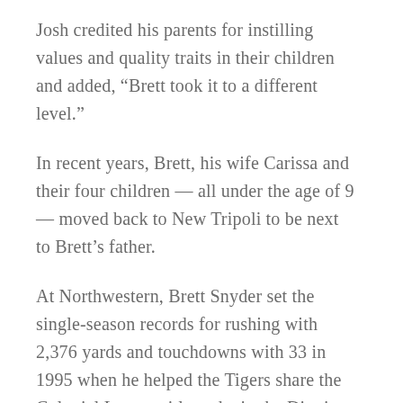Josh credited his parents for instilling values and quality traits in their children and added, “Brett took it to a different level.”
In recent years, Brett, his wife Carissa and their four children — all under the age of 9 — moved back to New Tripoli to be next to Brett’s father.
At Northwestern, Brett Snyder set the single-season records for rushing with 2,376 yards and touchdowns with 33 in 1995 when he helped the Tigers share the Colonial League title and win the District 11 Class 2A crown.